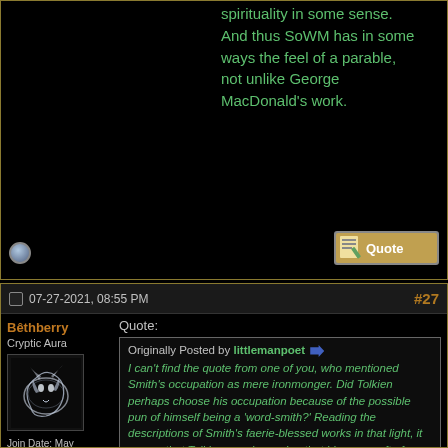spirituality in some sense. And thus SoWM has in some ways the feel of a parable, not unlike George MacDonald's work.
07-27-2021, 08:55 PM
#27
Bêthberry
Cryptic Aura
Join Date: May 2002
Posts: 6,072
Quote:
Originally Posted by littlemanpoet
I can't find the quote from one of you, who mentioned Smith's occupation as mere ironmonger. Did Tolkien perhaps choose his occupation because of the possible pun of himself being a 'word-smith?' Reading the descriptions of Smith's faerie-blessed works in that light, it seems that Tolkien may be saying that his own craft of word-smithy was enriched by Faerie. And this could be taken in the sense of his philology as well as being a writer of stories.